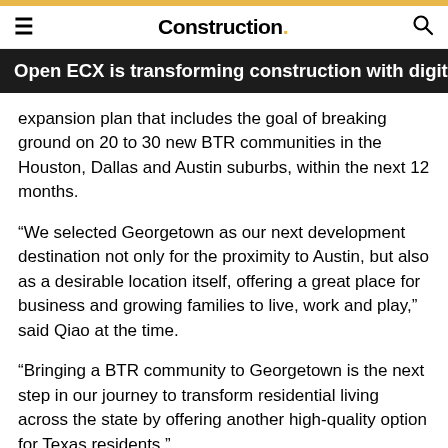Construction.
Open ECX is transforming construction with digital solution
expansion plan that includes the goal of breaking ground on 20 to 30 new BTR communities in the Houston, Dallas and Austin suburbs, within the next 12 months.
“We selected Georgetown as our next development destination not only for the proximity to Austin, but also as a desirable location itself, offering a great place for business and growing families to live, work and play,” said Qiao at the time.
“Bringing a BTR community to Georgetown is the next step in our journey to transform residential living across the state by offering another high-quality option for Texas residents.”